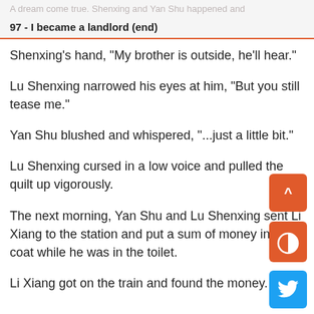A dream come true. Shenxing and Yan Shu happened and
97 - I became a landlord (end)
Shenxing's hand, "My brother is outside, he'll hear."
Lu Shenxing narrowed his eyes at him, "But you still tease me."
Yan Shu blushed and whispered, "...just a little bit."
Lu Shenxing cursed in a low voice and pulled the quilt up vigorously.
The next morning, Yan Shu and Lu Shenxing sent Li Xiang to the station and put a sum of money in his coat while he was in the toilet.
Li Xiang got on the train and found the money. He